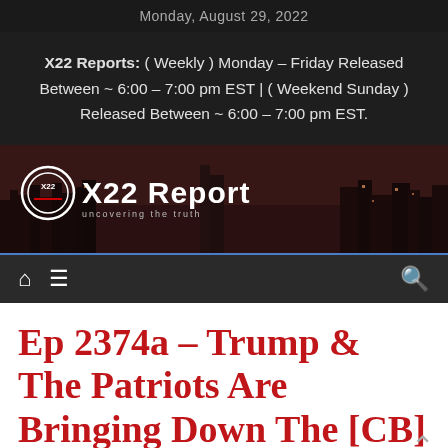Monday, August 29, 2022
X22 Reports: ( Weekly ) Monday – Friday Released Between ~ 6:00 – 7:00 pm EST | ( Weekend Sunday ) Released Between ~ 6:00 – 7:00 pm EST.
[Figure (logo): X22 Report banner logo with city skyline background]
[Figure (infographic): Navigation bar with home icon, menu icon, and search icon on dark background]
Ep 2374a – Trump & The Patriots Are Bringing Down The [CB]